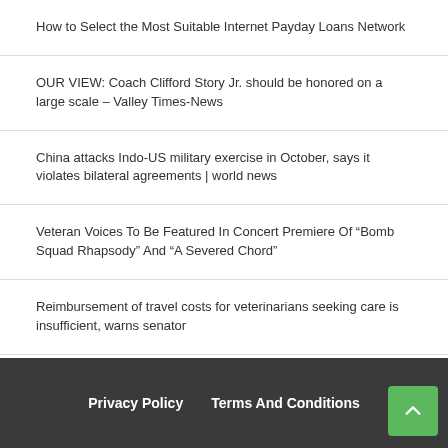How to Select the Most Suitable Internet Payday Loans Network
OUR VIEW: Coach Clifford Story Jr. should be honored on a large scale – Valley Times-News
China attacks Indo-US military exercise in October, says it violates bilateral agreements | world news
Veteran Voices To Be Featured In Concert Premiere Of “Bomb Squad Rhapsody” And “A Severed Chord”
Reimbursement of travel costs for veterinarians seeking care is insufficient, warns senator
More Than P89-B MPBF Fund Wanted by Marcos admin | GMA News Online
Privacy Policy   Terms And Conditions